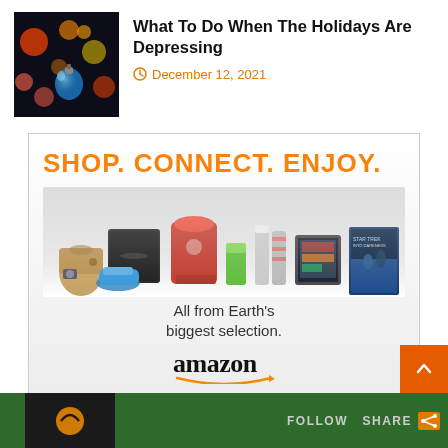[Figure (photo): Holiday bokeh lights with blue ornament thumbnail]
What To Do When The Holidays Are Depressing
December 12, 2021
[Figure (illustration): Amazon advertisement: SHOP. CONNECT. ENJOY. All from Earth's biggest selection. amazon]
FOLLOW  SHARE